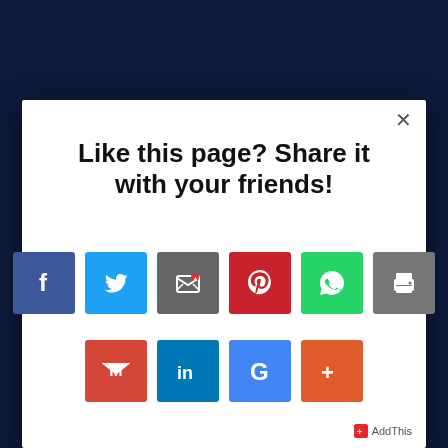Like this page? Share it with your friends!
[Figure (screenshot): Social sharing modal dialog with share buttons for Facebook, Twitter, Email, Pinterest, WhatsApp, Print, Gmail, LinkedIn, Google, and Google+ along with an AddThis branding label]